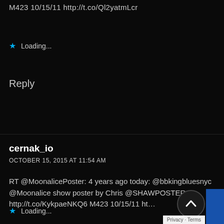M423 10/15/11 http://t.co/Ql2yatmLcr
Loading...
Reply
cernak_io
OCTOBER 15, 2015 AT 11:54 AM
RT @MoonalicePoster: 4 years ago today: @bbkingbluesnyc @Moonalice show poster by Chris @SHAWPOSTER http://t.co/KykpaeNKQ6 M423 10/15/11 ht…
Loading...
Privacy · Terms